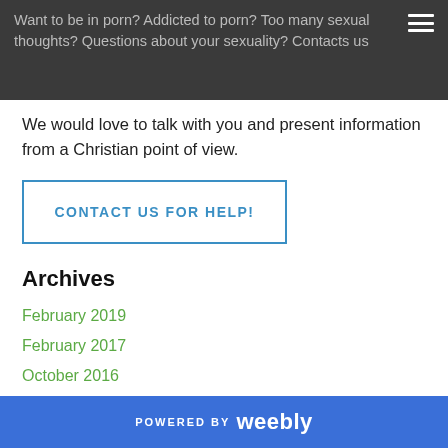Want to be in porn? Addicted to porn? Too many sexual thoughts? Questions about your sexuality? Contacts us
We would love to talk with you and present information from a Christian point of view.
CONTACT US FOR HELP!
Archives
February 2019
February 2017
October 2016
August 2016
July 2016
June 2016
April 2016
February 2016
POWERED BY weebly